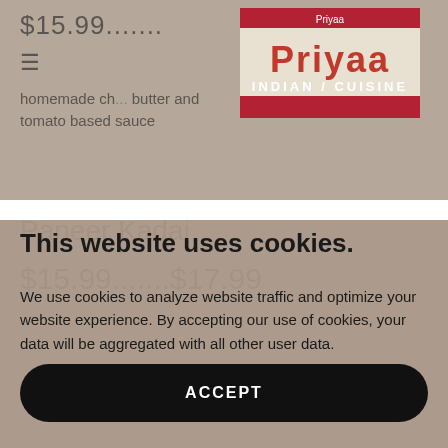$15.99.......
≡
[Figure (logo): Priyaa Indian Cuisine restaurant logo — red and white sign with restaurant name]
homemade ch... butter and tomato based sauce
Paneer Kadai
$15.99.......$17.99
This website uses cookies.
We use cookies to analyze website traffic and optimize your website experience. By accepting our use of cookies, your data will be aggregated with all other user data.
ACCEPT